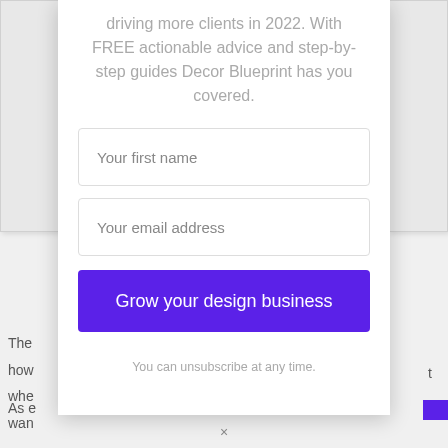driving more clients in 2022. With FREE actionable advice and step-by-step guides Decor Blueprint has you covered.
Your first name
Your email address
Grow your design business
You can unsubscribe at any time.